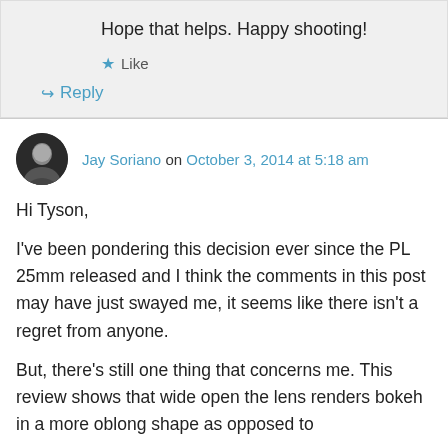Hope that helps. Happy shooting!
★ Like
↪ Reply
Jay Soriano on October 3, 2014 at 5:18 am
Hi Tyson,
I've been pondering this decision ever since the PL 25mm released and I think the comments in this post may have just swayed me, it seems like there isn't a regret from anyone.
But, there's still one thing that concerns me. This review shows that wide open the lens renders bokeh in a more oblong shape as opposed to